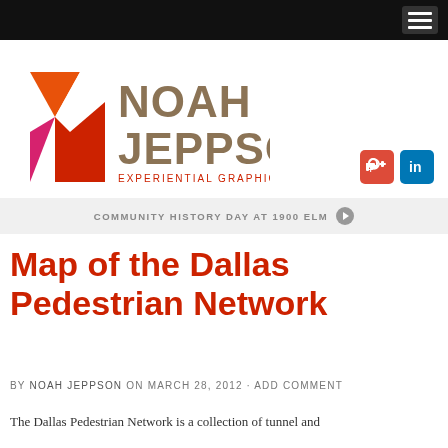[Figure (logo): Noah Jeppson Experiential Graphic Designer logo with stylized X mark in orange/red/pink]
[Figure (other): Google+ and LinkedIn social media icons]
COMMUNITY HISTORY DAY AT 1900 ELM
Map of the Dallas Pedestrian Network
BY NOAH JEPPSON ON MARCH 28, 2012 · ADD COMMENT
The Dallas Pedestrian Network is a collection of tunnel and